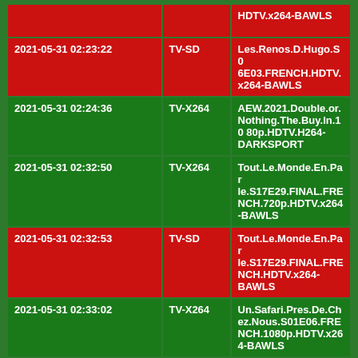| Date/Time | Category | Title |
| --- | --- | --- |
|  |  | HDTV.x264-BAWLS |
| 2021-05-31 02:23:22 | TV-SD | Les.Renos.D.Hugo.S06E03.FRENCH.HDTV.x264-BAWLS |
| 2021-05-31 02:24:36 | TV-X264 | AEW.2021.Double.or.Nothing.The.Buy.In.1080p.HDTV.H264-DARKSPORT |
| 2021-05-31 02:32:50 | TV-X264 | Tout.Le.Monde.En.Parle.S17E29.FINAL.FRENCH.720p.HDTV.x264-BAWLS |
| 2021-05-31 02:32:53 | TV-SD | Tout.Le.Monde.En.Parle.S17E29.FINAL.FRENCH.HDTV.x264-BAWLS |
| 2021-05-31 02:33:02 | TV-X264 | Un.Safari.Pres.De.Chez.Nous.S01E06.FRENCH.1080p.HDTV.x264-BAWLS |